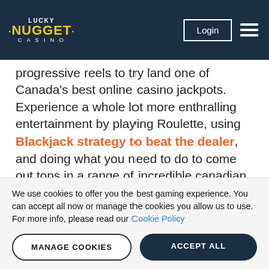Lucky Nugget Casino — Login
progressive reels to try land one of Canada's best online casino jackpots. Experience a whole lot more enthralling entertainment by playing Roulette, using Blackjack strategy to beat the dealer, and doing what you need to do to come out tops in a range of incredible canadian online casino games.
[Figure (other): Orange SIGN UP button, partially visible]
We use cookies to offer you the best gaming experience. You can accept all now or manage the cookies you allow us to use. For more info, please read our Cookie Policy
MANAGE COOKIES   ACCEPT ALL